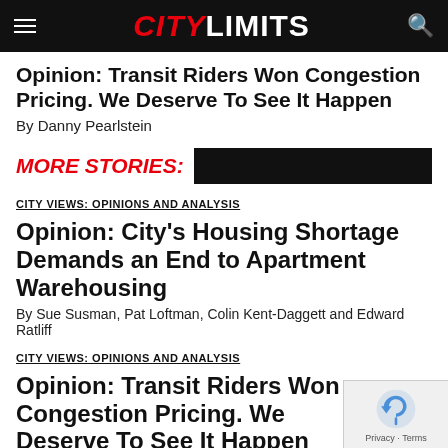CITY LIMITS
Opinion: Transit Riders Won Congestion Pricing. We Deserve To See It Happen
By Danny Pearlstein
MORE STORIES:
CITY VIEWS: OPINIONS AND ANALYSIS
Opinion: City's Housing Shortage Demands an End to Apartment Warehousing
By Sue Susman, Pat Loftman, Colin Kent-Daggett and Edward Ratliff
CITY VIEWS: OPINIONS AND ANALYSIS
Opinion: Transit Riders Won Congestion Pricing. We Deserve To See It Happen